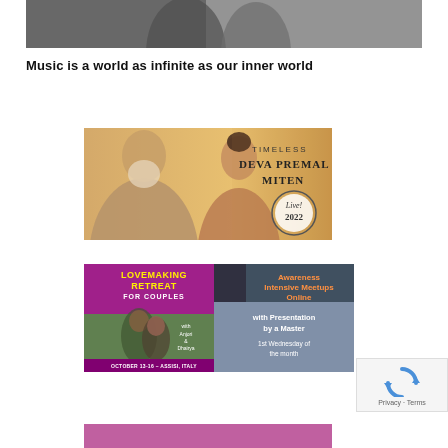[Figure (photo): Black and white photo of two people close together, partially cropped at top of page]
Music is a world as infinite as our inner world
[Figure (photo): Advertisement banner: TIMELESS DEVA PREMAL MITEN Live! 2022 - showing an older bearded man and a younger woman facing each other at sunset]
[Figure (photo): Advertisement: LOVEMAKING RETREAT FOR COUPLES with Anjori & Dhairya, OCTOBER 13-16 - ASSISI, ITALY - purple background with couple photo]
[Figure (photo): Advertisement: Awareness Intensive Meetups Online with Presentation by a Master, 1st Wednesday of the month - blue/teal tones with hands image]